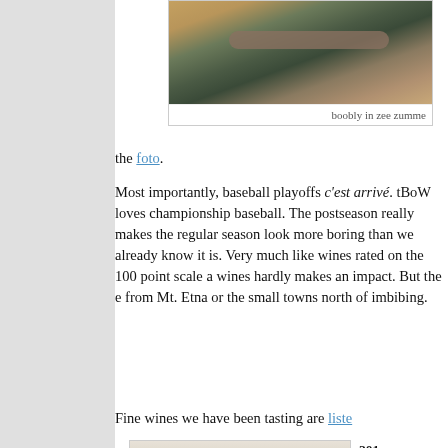[Figure (photo): Close-up photo of what appears to be baseball equipment or outdoor scene with green and brown tones]
boobly in zee zumme
the foto.
Most importantly, baseball playoffs c'est arrivé. tBoW loves championship baseball. The postseason really makes the regular season look more boring than we already know it is. Very much like wines rated on the 100 point scale and wines hardly makes an impact. But the e from Mt. Etna or the small towns north of imbibing.
Fine wines we have been tasted are liste
[Figure (photo): Bottle of wine with Fattorie Romeo label]
201 Wo per con